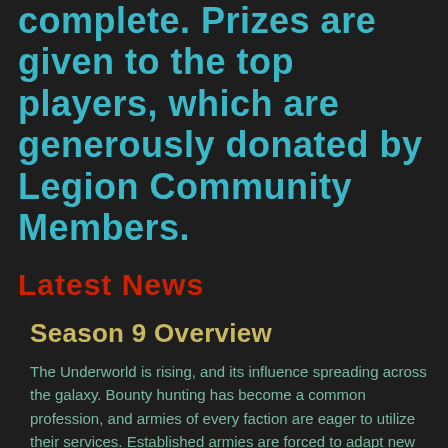complete. Prizes are given to the top players, which are generously donated by Legion Community Members.
Latest News
Season 9 Overview
The Underworld is rising, and its influence spreading across the galaxy. Bounty hunting has become a common profession, and armies of every faction are eager to utilize their services. Established armies are forced to adapt new battle tactics and forces.